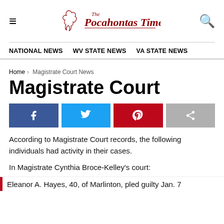The Pocahontas Times — NATIONAL NEWS | WV STATE NEWS | VA STATE NEWS
Home › Magistrate Court News
Magistrate Court
[Figure (other): Social sharing buttons: Facebook, Twitter, Pinterest, Share]
According to Magistrate Court records, the following individuals had activity in their cases.
In Magistrate Cynthia Broce-Kelley's court:
Eleanor A. Hayes, 40, of Marlinton, pled guilty Jan. 7...